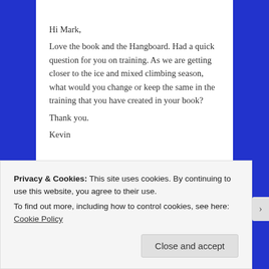Hi Mark,
Love the book and the Hangboard. Had a quick question for you on training. As we are getting closer to the ice and mixed climbing season, what would you change or keep the same in the training that you have created in your book?
Thank you.
Kevin
★ Like
Reply
Privacy & Cookies: This site uses cookies. By continuing to use this website, you agree to their use.
To find out more, including how to control cookies, see here: Cookie Policy
Close and accept